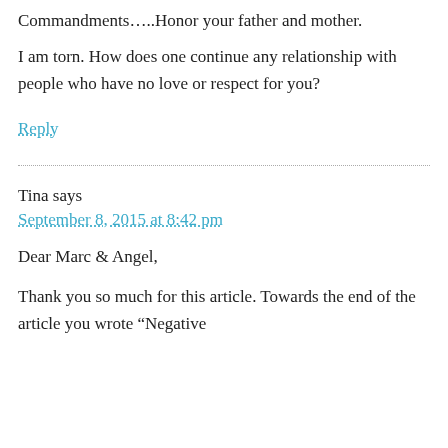Commandments…..Honor your father and mother.
I am torn. How does one continue any relationship with people who have no love or respect for you?
Reply
Tina says
September 8, 2015 at 8:42 pm
Dear Marc & Angel,
Thank you so much for this article. Towards the end of the article you wrote “Negative